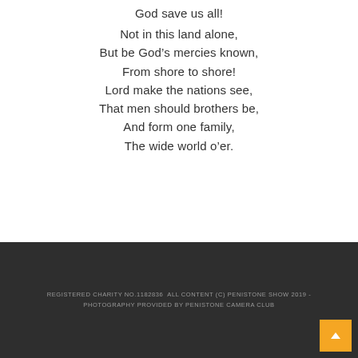God save us all!
Not in this land alone,
But be God’s mercies known,
From shore to shore!
Lord make the nations see,
That men should brothers be,
And form one family,
The wide world o’er.
REGISTERED CHARITY NO.1182836  ALL CONTENT (C) PENISTONE SHOW 2019 - PHOTOGRAPHY PROVIDED BY PENISTONE CAMERA CLUB